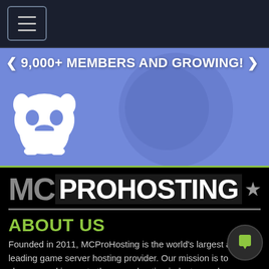[Figure (screenshot): Navigation bar with hamburger menu icon on dark navy background]
[Figure (infographic): Discord banner with text '9,000+ MEMBERS AND GROWING!' and Discord logo on purple/blue background]
[Figure (logo): MCProHosting logo in large bold text on black background]
ABOUT US
Founded in 2011, MCProHosting is the world's largest and leading game server hosting provider. Our mission is to change, and innovate the game hosting industry, and we maintain this mindset everyday as we move forward.